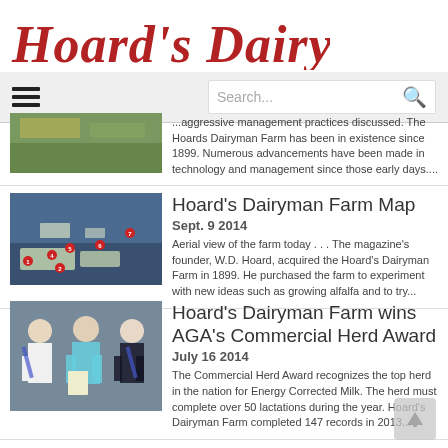Hoard's Dairyman
...aggressive management practices discussed. The Hoards Dairyman Farm has been in existence since 1899. Numerous advancements have been made in technology and management since those early days....
Hoard's Dairyman Farm Map
Sept. 9 2014
Aerial view of the farm today . . . The magazine's founder, W.D. Hoard, acquired the Hoard's Dairyman Farm in 1899. He purchased the farm to experiment with new ideas such as growing alfalfa and to try...
Hoard's Dairyman Farm wins AGA's Commercial Herd Award
July 16 2014
The Commercial Herd Award recognizes the top herd in the nation for Energy Corrected Milk. The herd must complete over 50 lactations during the year. Hoard's Dairyman Farm completed 147 records in 2013...